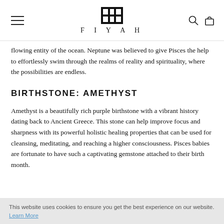FIYAH
flowing entity of the ocean. Neptune was believed to give Pisces the help to effortlessly swim through the realms of reality and spirituality, where the possibilities are endless.
BIRTHSTONE: AMETHYST
Amethyst is a beautifully rich purple birthstone with a vibrant history dating back to Ancient Greece. This stone can help improve focus and sharpness with its powerful holistic healing properties that can be used for cleansing, meditating, and reaching a higher consciousness. Pisces babies are fortunate to have such a captivating gemstone attached to their birth month.
This website uses cookies to ensure you get the best experience on our website. Learn More